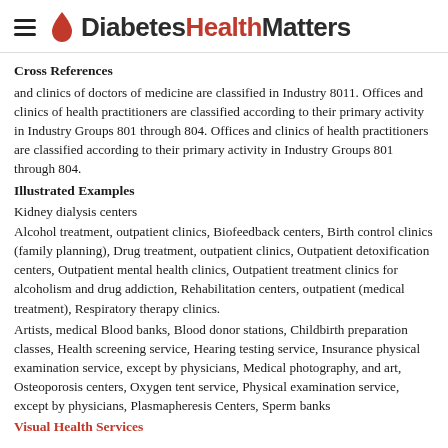DiabetesHealthMatters
Cross References
and clinics of doctors of medicine are classified in Industry 8011. Offices and clinics of health practitioners are classified according to their primary activity in Industry Groups 801 through 804. Offices and clinics of health practitioners are classified according to their primary activity in Industry Groups 801 through 804.
Illustrated Examples
Kidney dialysis centers
Alcohol treatment, outpatient clinics, Biofeedback centers, Birth control clinics (family planning), Drug treatment, outpatient clinics, Outpatient detoxification centers, Outpatient mental health clinics, Outpatient treatment clinics for alcoholism and drug addiction, Rehabilitation centers, outpatient (medical treatment), Respiratory therapy clinics.
Artists, medical Blood banks, Blood donor stations, Childbirth preparation classes, Health screening service, Hearing testing service, Insurance physical examination service, except by physicians, Medical photography, and art, Osteoporosis centers, Oxygen tent service, Physical examination service, except by physicians, Plasmapheresis Centers, Sperm banks
Visual Health Services